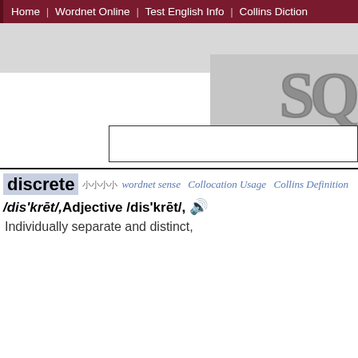Home | Wordnet Online | Test English Info | Collins Diction
[Figure (logo): Partial logo text 'SQ' in large stylized gray letters with shadow effect on gray background]
discrete
wordnet sense  Collocation Usage  Collins Definition
Adjective /dis'krēt/,
Individually separate and distinct,